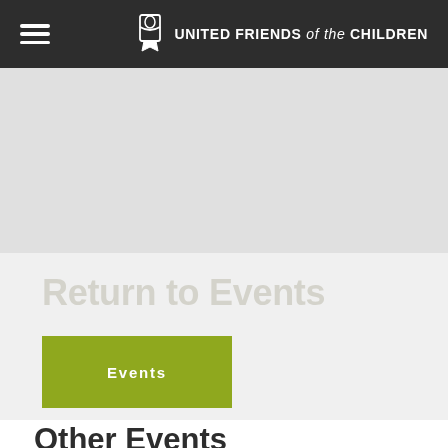United Friends of the Children
[Figure (other): Gray banner placeholder image area]
Return to Events
Events
Other Events